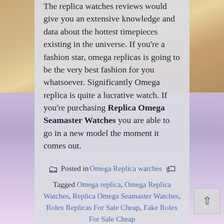The replica watches reviews would give you an extensive knowledge and data about the hottest timepieces existing in the universe. If you're a fashion star, omega replicas is going to be the very best fashion for you whatsoever. Significantly Omega replica is quite a lucrative watch. If you're purchasing Replica Omega Seamaster Watches you are able to go in a new model the moment it comes out.
Posted in Omega Replica watches Tagged Omega replica, Omega Replica Watches, Replica Omega Seamaster Watches, Rolex Replicas For Sale Cheap, Fake Rolex For Sale Cheap